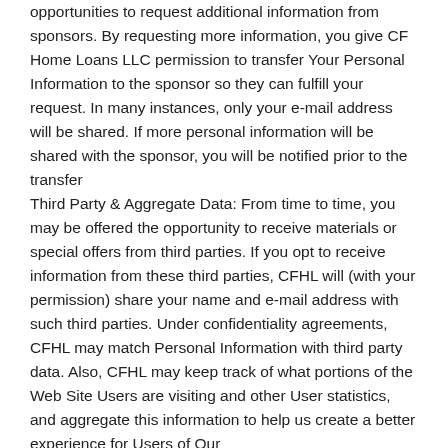opportunities to request additional information from sponsors. By requesting more information, you give CF Home Loans LLC permission to transfer Your Personal Information to the sponsor so they can fulfill your request. In many instances, only your e-mail address will be shared. If more personal information will be shared with the sponsor, you will be notified prior to the transfer
Third Party & Aggregate Data: From time to time, you may be offered the opportunity to receive materials or special offers from third parties. If you opt to receive information from these third parties, CFHL will (with your permission) share your name and e-mail address with such third parties. Under confidentiality agreements, CFHL may match Personal Information with third party data. Also, CFHL may keep track of what portions of the Web Site Users are visiting and other User statistics, and aggregate this information to help us create a better experience for Users of Our